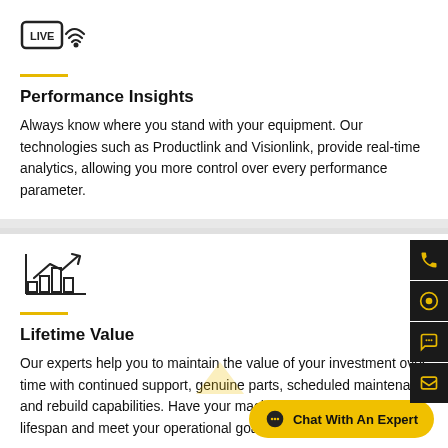[Figure (logo): LIVE icon with wifi/broadcast signal]
Performance Insights
Always know where you stand with your equipment. Our technologies such as Productlink and Visionlink, provide real-time analytics, allowing you more control over every performance parameter.
[Figure (illustration): Bar chart with upward trending arrow icon]
Lifetime Value
Our experts help you to maintain the value of your investment over time with continued support, genuine parts, scheduled maintenance and rebuild capabilities. Have your machine extend beyond its lifespan and meet your operational goals.